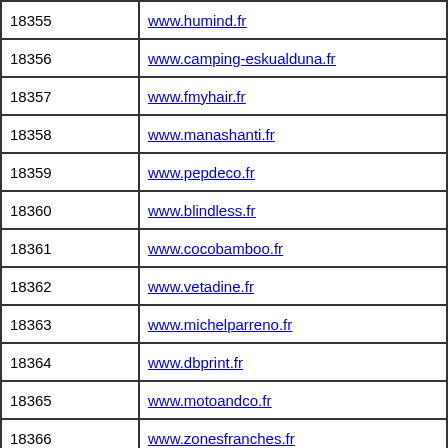| ID | URL |
| --- | --- |
| 18355 | www.humind.fr |
| 18356 | www.camping-eskualduna.fr |
| 18357 | www.fmyhair.fr |
| 18358 | www.manashanti.fr |
| 18359 | www.pepdeco.fr |
| 18360 | www.blindless.fr |
| 18361 | www.cocobamboo.fr |
| 18362 | www.vetadine.fr |
| 18363 | www.michelparreno.fr |
| 18364 | www.dbprint.fr |
| 18365 | www.motoandco.fr |
| 18366 | www.zonesfranches.fr |
| 18367 | www.expocontacts.fr |
| 18368 | www.bufardtourdumonde.fr |
| 18369 | www.ailesseproduction.fr |
| 18370 | www.??? |